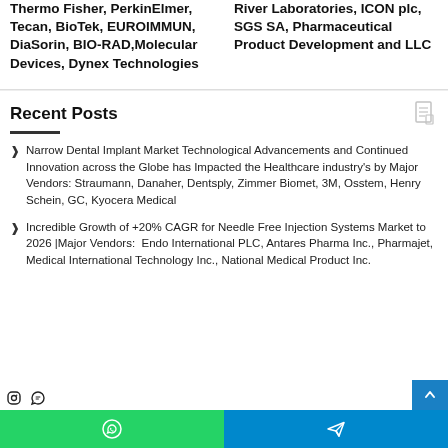Thermo Fisher, PerkinElmer, Tecan, BioTek, EUROIMMUN, DiaSorin, BIO-RAD, Molecular Devices, Dynex Technologies
River Laboratories, ICON plc, SGS SA, Pharmaceutical Product Development and LLC
Recent Posts
Narrow Dental Implant Market Technological Advancements and Continued Innovation across the Globe has Impacted the Healthcare industry's by Major Vendors: Straumann, Danaher, Dentsply, Zimmer Biomet, 3M, Osstem, Henry Schein, GC, Kyocera Medical
Incredible Growth of +20% CAGR for Needle Free Injection Systems Market to 2026 |Major Vendors: Endo International PLC, Antares Pharma Inc., Pharmajet, Medical International Technology Inc., National Medical Product Inc.